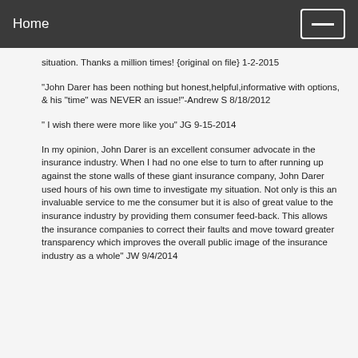Home
situation. Thanks a million times! {original on file} 1-2-2015
"John Darer has been nothing but honest,helpful,informative with options, & his "time" was NEVER an issue!"-Andrew S 8/18/2012
" I wish there were more like you" JG 9-15-2014
In my opinion, John Darer is an excellent consumer advocate in the insurance industry. When I had no one else to turn to after running up against the stone walls of these giant insurance company, John Darer used hours of his own time to investigate my situation. Not only is this an invaluable service to me the consumer but it is also of great value to the insurance industry by providing them consumer feed-back. This allows the insurance companies to correct their faults and move toward greater transparency which improves the overall public image of the insurance industry as a whole" JW 9/4/2014